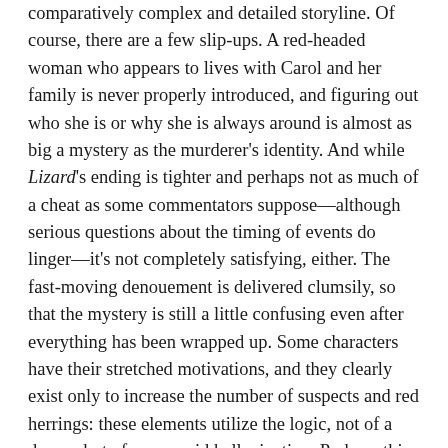comparatively complex and detailed storyline. Of course, there are a few slip-ups. A red-headed woman who appears to lives with Carol and her family is never properly introduced, and figuring out who she is or why she is always around is almost as big a mystery as the murderer's identity. And while Lizard's ending is tighter and perhaps not as much of a cheat as some commentators suppose—although serious questions about the timing of events do linger—it's not completely satisfying, either. The fast-moving denouement is delivered clumsily, so that the mystery is still a little confusing even after everything has been wrapped up. Some characters have their stretched motivations, and they clearly exist only to increase the number of suspects and red herrings: these elements utilize the logic, not of a dream, but of a paranoid hallucination. Perhaps this is why Lizard's narrative fumblings don't seem to matter that much in the overall scheme. Although there may be a comforting rational explanation to events at the end, the parallel construction of the film as a portrait of a woman undergoing a breakdown (the original U.S. release title was